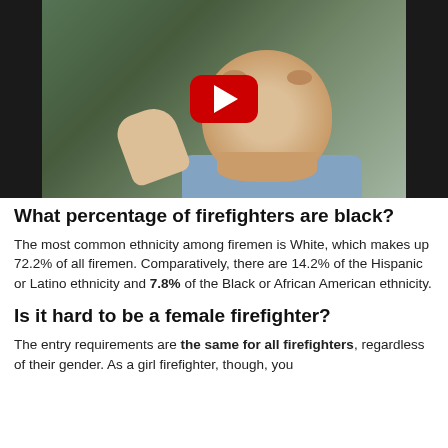[Figure (screenshot): YouTube video thumbnail showing a bald man in a blue shirt gesturing with his hand while sitting in a car. A red YouTube play button is displayed in the center of the video.]
What percentage of firefighters are black?
The most common ethnicity among firemen is White, which makes up 72.2% of all firemen. Comparatively, there are 14.2% of the Hispanic or Latino ethnicity and 7.8% of the Black or African American ethnicity.
Is it hard to be a female firefighter?
The entry requirements are the same for all firefighters, regardless of their gender. As a girl firefighter, though, you